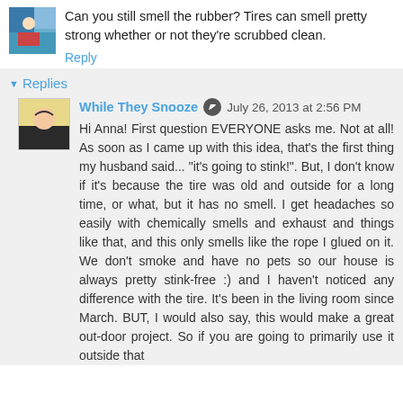Can you still smell the rubber? Tires can smell pretty strong whether or not they're scrubbed clean.
Reply
Replies
While They Snooze  July 26, 2013 at 2:56 PM
Hi Anna! First question EVERYONE asks me. Not at all! As soon as I came up with this idea, that's the first thing my husband said... "it's going to stink!". But, I don't know if it's because the tire was old and outside for a long time, or what, but it has no smell. I get headaches so easily with chemically smells and exhaust and things like that, and this only smells like the rope I glued on it. We don't smoke and have no pets so our house is always pretty stink-free :) and I haven't noticed any difference with the tire. It's been in the living room since March. BUT, I would also say, this would make a great out-door project. So if you are going to primarily use it outside that